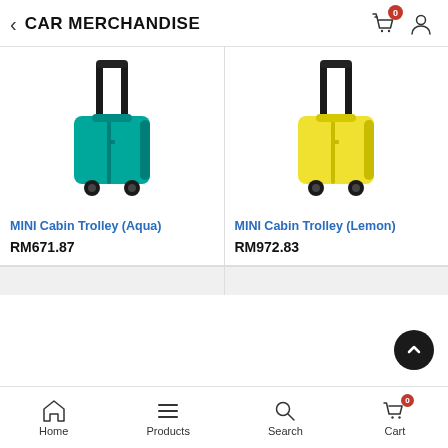CAR MERCHANDISE
[Figure (photo): Teal/aqua hard-shell cabin trolley suitcase with black handle and wheels]
MINI Cabin Trolley (Aqua)
RM671.87
[Figure (photo): Yellow hard-shell cabin trolley suitcase with black handle and wheels]
MINI Cabin Trolley (Lemon)
RM972.83
Home   Products   Search   Cart